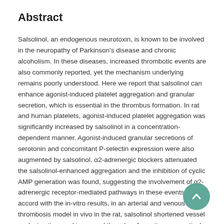Abstract
Salsolinol, an endogenous neurotoxin, is known to be involved in the neuropathy of Parkinson's disease and chronic alcoholism. In these diseases, increased thrombotic events are also commonly reported, yet the mechanism underlying remains poorly understood. Here we report that salsolinol can enhance agonist-induced platelet aggregation and granular secretion, which is essential in the thrombus formation. In rat and human platelets, agonist-induced platelet aggregation was significantly increased by salsolinol in a concentration- dependent manner. Agonist-induced granular secretions of serotonin and concomitant P-selectin expression were also augmented by salsolinol. α2-adrenergic blockers attenuated the salsolinol-enhanced aggregation and the inhibition of cyclic AMP generation was found, suggesting the involvement of α2-adrenergic receptor-mediated pathways in these events. In accord with the in-vitro results, in an arterial and venous thrombosis model in vivo in the rat, salsolinol shortened vessel occlusion time and increased thrombus formation, respectively. In conclusion, we demonstrated that salsolinol can enhance agonist-induced aggregation and granular secretion in platelets through α2-